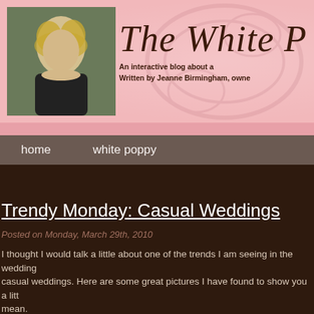[Figure (photo): Photo of a woman with curly blonde hair wearing a black top and necklace, smiling]
The White P[oppy]
An interactive blog about a
Written by Jeanne Birmingham, owne[r]
home   white poppy
Trendy Monday: Casual Weddings
Posted on Monday, March 29th, 2010
I thought I would talk a little about one of the trends I am seeing in the wedding[s]- casual weddings. Here are some great pictures I have found to show you a litt[le what I] mean.
Let's start with one of my favorites- casual shoes.